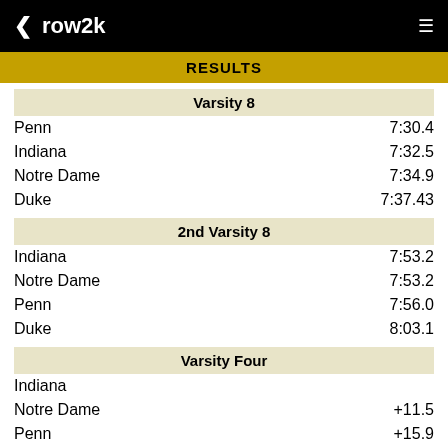row2k
RESULTS
| Team | Time |
| --- | --- |
| Penn | 7:30.4 |
| Indiana | 7:32.5 |
| Notre Dame | 7:34.9 |
| Duke | 7:37.43 |
| Team | Time |
| --- | --- |
| Indiana | 7:53.2 |
| Notre Dame | 7:53.2 |
| Penn | 7:56.0 |
| Duke | 8:03.1 |
| Team | Time |
| --- | --- |
| Indiana |  |
| Notre Dame | +11.5 |
| Penn | +15.9 |
| Duke | +52.07 |
| Team | Time |
| --- | --- |
| Indiana |  |
| Penn |  |
| Duke |  |
| Notre Dame | DNF |